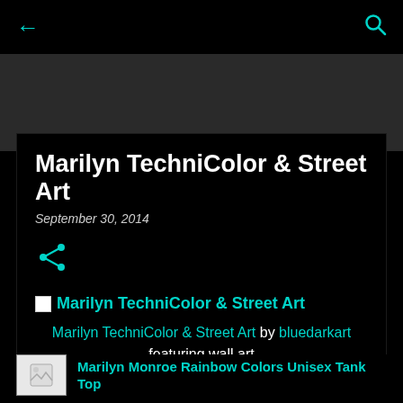← (back) Q (search)
Marilyn TechniColor & Street Art
September 30, 2014
[Figure (illustration): Share icon (teal/cyan color)]
[Figure (photo): Broken image placeholder with alt text: Marilyn TechniColor & Street Art]
Marilyn TechniColor & Street Art by bluedarkart featuring wall art
[Figure (photo): Broken/loading product thumbnail image]
Marilyn Monroe Rainbow Colors Unisex Tank Top